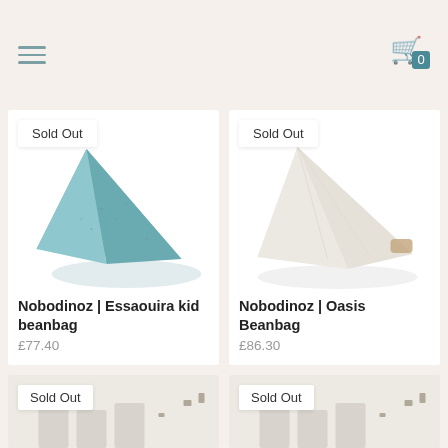[Figure (screenshot): E-commerce website header with hamburger menu icon on left and shopping cart icon with 0 items on right, on a beige background]
[Figure (photo): Nobodinoz Essaouira kid beanbag in teal/duck egg blue color, triangular shape, with Sold Out badge]
Nobodinoz | Essaouira kid beanbag
£77.40
[Figure (photo): Nobodinoz Oasis Beanbag in cream/white color, triangular shape with handle, with Sold Out badge]
Nobodinoz | Oasis Beanbag
£86.30
[Figure (photo): Partially visible product with Sold Out badge, bottom of page (cropped)]
[Figure (photo): Partially visible product with Sold Out badge, bottom of page (cropped)]